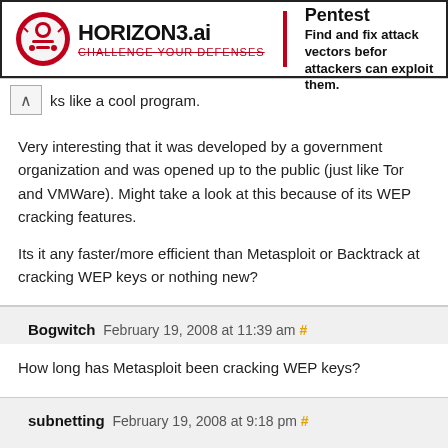[Figure (logo): Horizon3.ai advertisement banner with logo and text: Autonomous Pentest - Find and fix attack vectors before attackers can exploit them.]
ks like a cool program.
Very interesting that it was developed by a government organization and was opened up to the public (just like Tor and VMWare). Might take a look at this because of its WEP cracking features.

Its it any faster/more efficient than Metasploit or Backtrack at cracking WEP keys or nothing new?
Bogwitch February 19, 2008 at 11:39 am #
How long has Metasploit been cracking WEP keys?
subnetting February 19, 2008 at 9:18 pm #